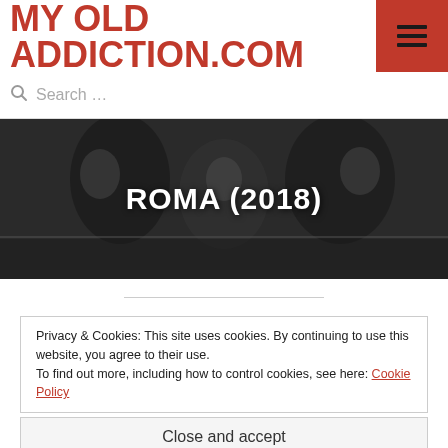MY OLD ADDICTION.COM
Search ...
[Figure (photo): Black and white film still from Roma (2018) showing figures embracing, used as hero banner with title text 'ROMA (2018)' overlaid in white]
ROMA (2018)
Privacy & Cookies: This site uses cookies. By continuing to use this website, you agree to their use.
To find out more, including how to control cookies, see here: Cookie Policy
Close and accept
Mexico/USA, 2018.  Esperanto Filmoj, Participant